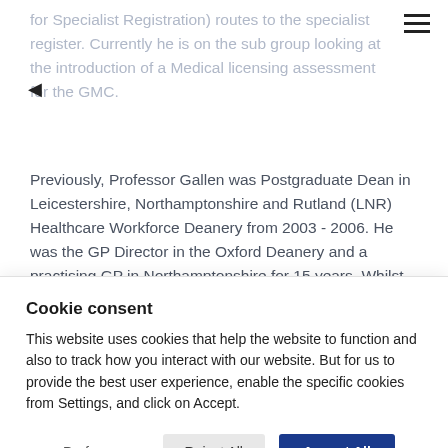for Specialist Registration) routes to the specialist register. Currently he is on the sub group looking at the introduction of a Medical licensing assessment for the GMC.
Previously, Professor Gallen was Postgraduate Dean in Leicestershire, Northamptonshire and Rutland (LNR) Healthcare Workforce Deanery from 2003 - 2006. He was the GP Director in the Oxford Deanery and a practising GP in Northamptonshire for 15 years. Whilst Dean at Leicester, Derek developed the research division of the deanery and raised the profile of the deanery at national and international conferences...
Cookie consent
This website uses cookies that help the website to function and also to track how you interact with our website. But for us to provide the best user experience, enable the specific cookies from Settings, and click on Accept.